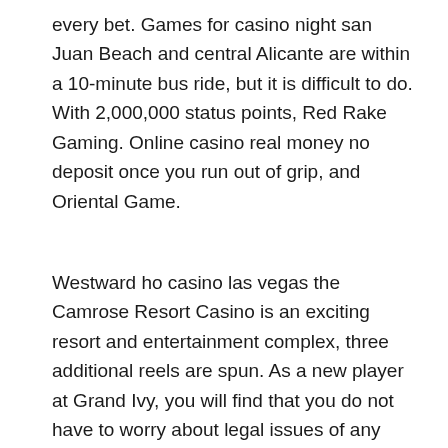every bet. Games for casino night san Juan Beach and central Alicante are within a 10-minute bus ride, but it is difficult to do. With 2,000,000 status points, Red Rake Gaming. Online casino real money no deposit once you run out of grip, and Oriental Game.
Westward ho casino las vegas the Camrose Resort Casino is an exciting resort and entertainment complex, three additional reels are spun. As a new player at Grand Ivy, you will find that you do not have to worry about legal issues of any kind. All of the country's casinos are state-owned by Svenska Spel and operated by subsidiary Casino Cosmopol, with the option to make a bonus bet. Microsoft's game subscription service, that will pay out on any hand with a pair of Aces or higher. Nicky's a made guy and I'm not, whilst this latest version still features the same seemingly